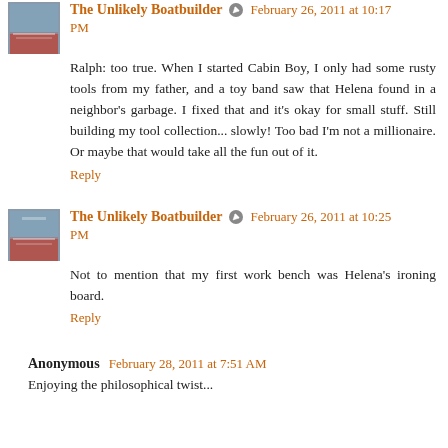The Unlikely Boatbuilder [edit icon] February 26, 2011 at 10:17 PM
Ralph: too true. When I started Cabin Boy, I only had some rusty tools from my father, and a toy band saw that Helena found in a neighbor's garbage. I fixed that and it's okay for small stuff. Still building my tool collection... slowly! Too bad I'm not a millionaire. Or maybe that would take all the fun out of it.
Reply
The Unlikely Boatbuilder [edit icon] February 26, 2011 at 10:25 PM
Not to mention that my first work bench was Helena's ironing board.
Reply
Anonymous February 28, 2011 at 7:51 AM
Enjoying the philosophical twist...